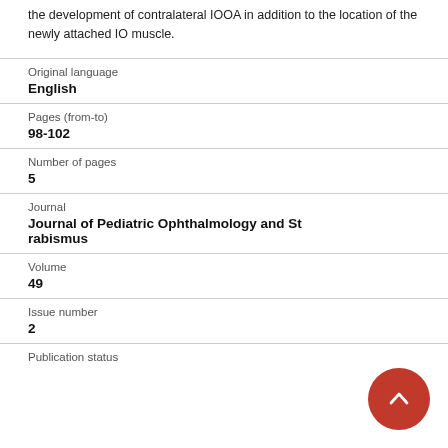the development of contralateral IOOA in addition to the location of the newly attached IO muscle.
| Original language | English |
| Pages (from-to) | 98-102 |
| Number of pages | 5 |
| Journal | Journal of Pediatric Ophthalmology and Strabismus |
| Volume | 49 |
| Issue number | 2 |
| Publication status |  |